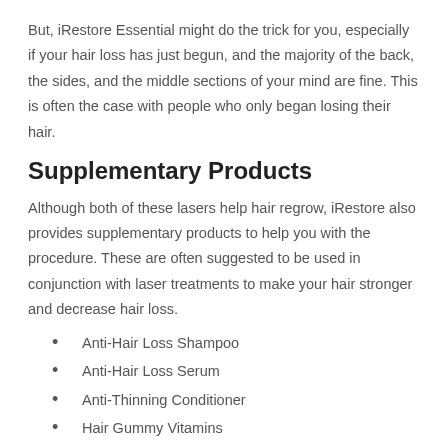But, iRestore Essential might do the trick for you, especially if your hair loss has just begun, and the majority of the back, the sides, and the middle sections of your mind are fine. This is often the case with people who only began losing their hair.
Supplementary Products
Although both of these lasers help hair regrow, iRestore also provides supplementary products to help you with the procedure. These are often suggested to be used in conjunction with laser treatments to make your hair stronger and decrease hair loss.
Anti-Hair Loss Shampoo
Anti-Hair Loss Serum
Anti-Thinning Conditioner
Hair Gummy Vitamins
3-in-1 Hair Growth Formula